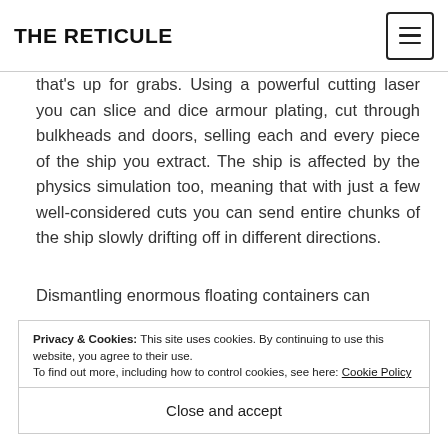THE RETICULE
that's up for grabs. Using a powerful cutting laser you can slice and dice armour plating, cut through bulkheads and doors, selling each and every piece of the ship you extract. The ship is affected by the physics simulation too, meaning that with just a few well-considered cuts you can send entire chunks of the ship slowly drifting off in different directions.
Dismantling enormous floating containers can
Privacy & Cookies: This site uses cookies. By continuing to use this website, you agree to their use. To find out more, including how to control cookies, see here: Cookie Policy
Close and accept
decompressing the interior and you can find yourself